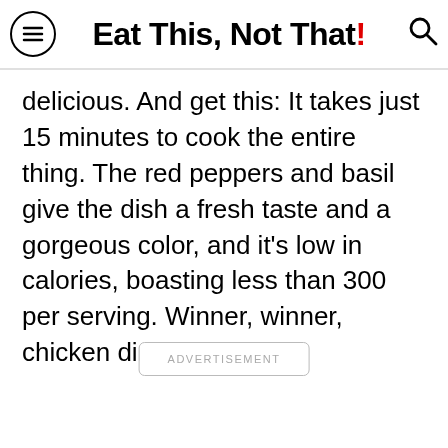Eat This, Not That!
delicious. And get this: It takes just 15 minutes to cook the entire thing. The red peppers and basil give the dish a fresh taste and a gorgeous color, and it's low in calories, boasting less than 300 per serving. Winner, winner, chicken dinner!
ADVERTISEMENT